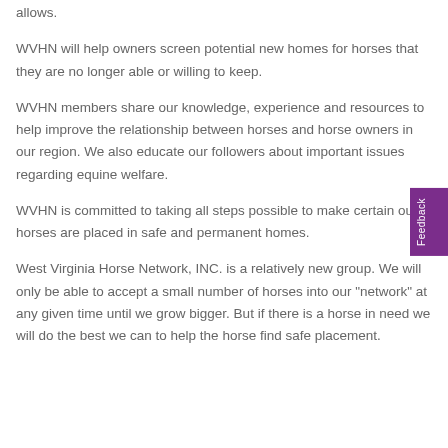allows.
WVHN will help owners screen potential new homes for horses that they are no longer able or willing to keep.
WVHN members share our knowledge, experience and resources to help improve the relationship between horses and horse owners in our region. We also educate our followers about important issues regarding equine welfare.
WVHN is committed to taking all steps possible to make certain our horses are placed in safe and permanent homes.
West Virginia Horse Network, INC. is a relatively new group. We will only be able to accept a small number of horses into our "network" at any given time until we grow bigger. But if there is a horse in need we will do the best we can to help the horse find safe placement.